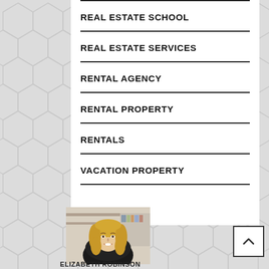REAL ESTATE SCHOOL
REAL ESTATE SERVICES
RENTAL AGENCY
RENTAL PROPERTY
RENTALS
VACATION PROPERTY
[Figure (photo): Headshot of Elizabeth Robinson, a woman with long blonde hair wearing a black jacket, smiling]
ELIZABETH ROBINSON